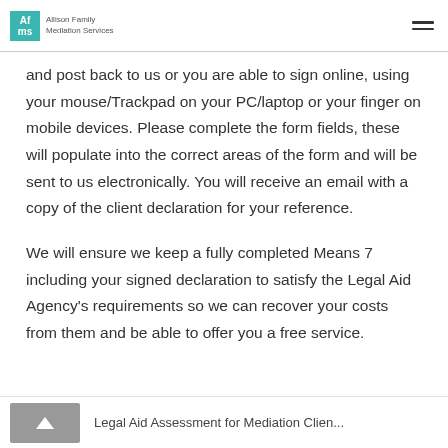Af ms  Allison Family Mediation Services
and post back to us or you are able to sign online, using your mouse/Trackpad on your PC/laptop or your finger on mobile devices. Please complete the form fields, these will populate into the correct areas of the form and will be sent to us electronically. You will receive an email with a copy of the client declaration for your reference.
We will ensure we keep a fully completed Means 7 including your signed declaration to satisfy the Legal Aid Agency's requirements so we can recover your costs from them and be able to offer you a free service.
Legal Aid Assessment for Mediation Clients